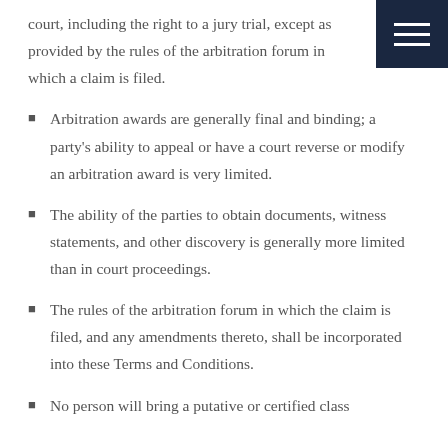court, including the right to a jury trial, except as provided by the rules of the arbitration forum in which a claim is filed.
Arbitration awards are generally final and binding; a party's ability to appeal or have a court reverse or modify an arbitration award is very limited.
The ability of the parties to obtain documents, witness statements, and other discovery is generally more limited than in court proceedings.
The rules of the arbitration forum in which the claim is filed, and any amendments thereto, shall be incorporated into these Terms and Conditions.
No person will bring a putative or certified class